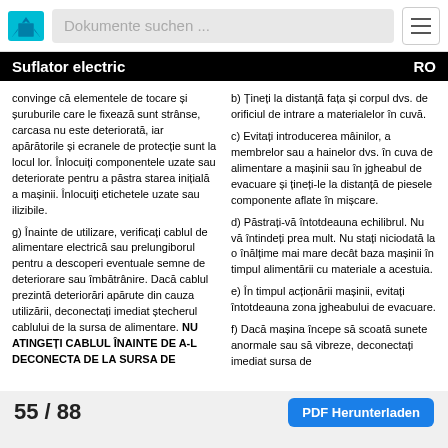Dokumente suchen ...
Suflator electric    RO
convinge că elementele de tocare și șuruburile care le fixează sunt strânse, carcasa nu este deteriorată, iar apărătorile și ecranele de protecție sunt la locul lor. Înlocuiți componentele uzate sau deteriorate pentru a păstra starea inițială a mașinii. Înlocuiți etichetele uzate sau ilizibile.
g) Înainte de utilizare, verificați cablul de alimentare electrică sau prelungiborul pentru a descoperi eventuale semne de deteriorare sau îmbătrânire. Dacă cablul prezintă deteriorări apărute din cauza utilizării, deconectați imediat ștecherul cablului de la sursa de alimentare. NU ATINGEȚI CABLUL ÎNAINTE DE A-L DECONECTA DE LA SURSA DE
b) Țineți la distanță fața și corpul dvs. de orificiul de intrare a materialelor în cuvă.
c) Evitați introducerea mâinilor, a membrelor sau a hainelor dvs. în cuva de alimentare a mașinii sau în jgheabul de evacuare și țineți-le la distanță de piesele componente aflate în mișcare.
d) Păstrați-vă întotdeauna echilibrul. Nu vă întindeți prea mult. Nu stați niciodată la o înălțime mai mare decât baza mașinii în timpul alimentării cu materiale a acestuia.
e) În timpul acționării mașinii, evitați întotdeauna zona jgheabului de evacuare.
f) Dacă mașina începe să scoată sunete anormale sau să vibreze, deconectați imediat sursa de
55 / 88